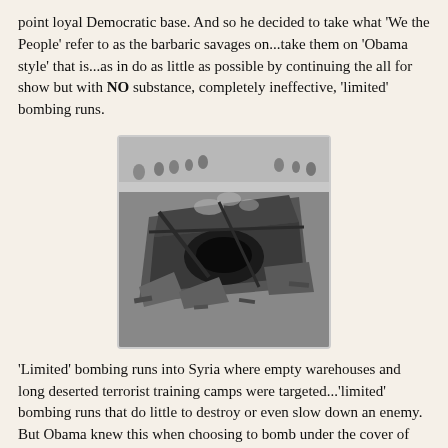point loyal Democratic base. And so he decided to take what 'We the People' refer to as the barbaric savages on...take them on 'Obama style' that is...as in do as little as possible by continuing the all for show but with NO substance, completely ineffective, 'limited' bombing runs.
[Figure (photo): Aerial black and white photograph of a destroyed or bombed-out structure, viewed from above.]
'Limited' bombing runs into Syria where empty warehouses and long deserted terrorist training camps were targeted...'limited' bombing runs that do little to destroy or even slow down an enemy. But Obama knew this when choosing to bomb under the cover of night...where we couldn't see the absurdity in what he was doing...he knew this after announcing to the enemy...to the world...that bombings were on the way. In fact, from the time he informed the enemy that bombings could commence...and